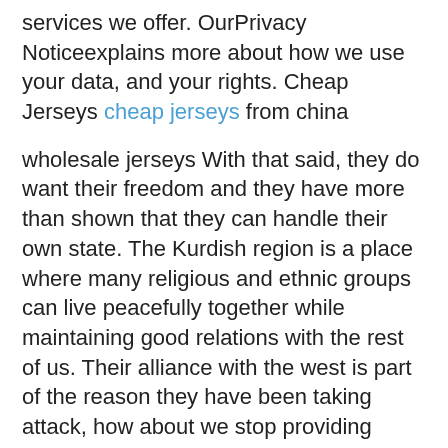services we offer. OurPrivacy Noticeexplains more about how we use your data, and your rights. Cheap Jerseys cheap jerseys from china
wholesale jerseys With that said, they do want their freedom and they have more than shown that they can handle their own state. The Kurdish region is a place where many religious and ethnic groups can live peacefully together while maintaining good relations with the rest of us. Their alliance with the west is part of the reason they have been taking attack, how about we stop providing them military aid and start helping them get their independence? MES20. wholesale jerseys
cheap jerseys But demonizing immigrants does nothing to actually slow down the spread of the virus. Immigrants aren't the reason that there are not enough coronavirus tests. Immigrants aren't why everyone has to be locked inside their homes, unable